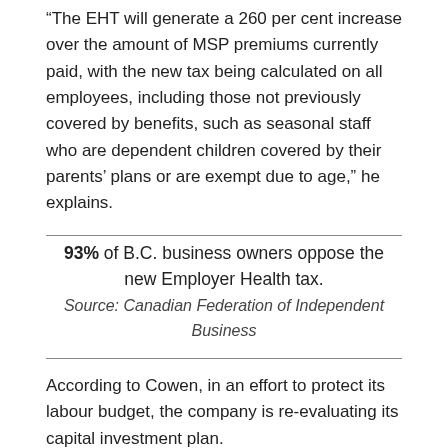“The EHT will generate a 260 per cent increase over the amount of MSP premiums currently paid, with the new tax being calculated on all employees, including those not previously covered by benefits, such as seasonal staff who are dependent children covered by their parents’ plans or are exempt due to age,” he explains.
93% of B.C. business owners oppose the new Employer Health tax. Source: Canadian Federation of Independent Business
According to Cowen, in an effort to protect its labour budget, the company is re-evaluating its capital investment plan.
The short turnaround is another cause for worry, says John Wilson, president and CEO of The Wilson’s Group of Companies. His transportation business will experience a